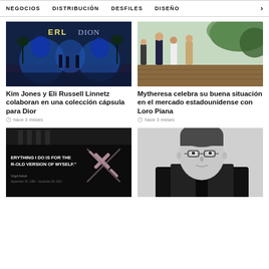NEGOCIOS   DISTRIBUCIÓN   DESFILES   DISEÑO   >
[Figure (photo): Event stage with blue lighting, ERL and Dior branding, scenic backdrop with large sculptural figures]
Kim Jones y Eli Russell Linnetz colaboran en una colección cápsula para Dior
hace 3 meses
[Figure (photo): Outdoor rooftop event, people standing, greenery in background, wooden deck floor]
Mytheresa celebra su buena situación en el mercado estadounidense con Loro Piana
hace 3 meses
[Figure (photo): Dark background with Off-White brand quote and logo graphic: 'EVERYTHING I DO IS FOR THE R-OLD VERSION OF MYSELF.' - Virgil Abloh]
[Figure (photo): Black and white portrait of a man wearing glasses in a suit]